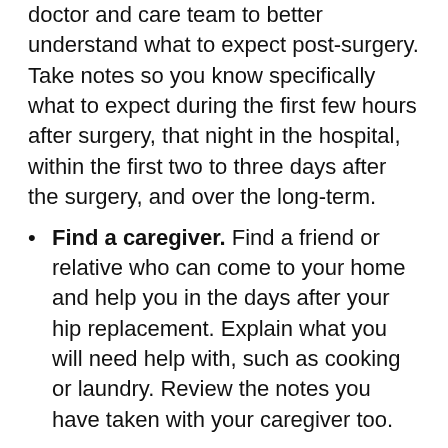doctor and care team to better understand what to expect post-surgery. Take notes so you know specifically what to expect during the first few hours after surgery, that night in the hospital, within the first two to three days after the surgery, and over the long-term.
Find a caregiver. Find a friend or relative who can come to your home and help you in the days after your hip replacement. Explain what you will need help with, such as cooking or laundry. Review the notes you have taken with your caregiver too.
Stay active. Try to maintain regular physical activity since it can help decrease your recovery time. Swimming is often